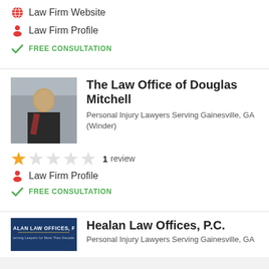Law Firm Website
Law Firm Profile
FREE CONSULTATION
The Law Office of Douglas Mitchell
Personal Injury Lawyers Serving Gainesville, GA (Winder)
1 review
Law Firm Profile
FREE CONSULTATION
Healan Law Offices, P.C.
Personal Injury Lawyers Serving Gainesville, GA